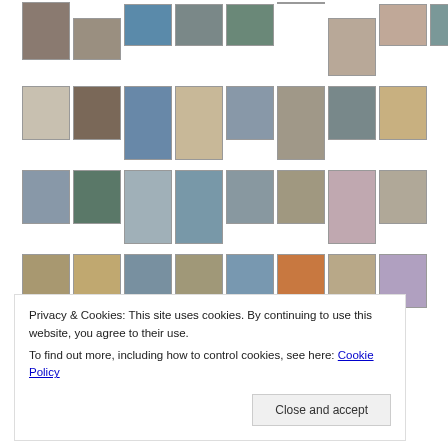[Figure (photo): Grid of thumbnail photos showing various outdoor scenes including beaches, landscapes, sculptures, and street scenes arranged in 4 rows]
Privacy & Cookies: This site uses cookies. By continuing to use this website, you agree to their use.
To find out more, including how to control cookies, see here: Cookie Policy
Close and accept